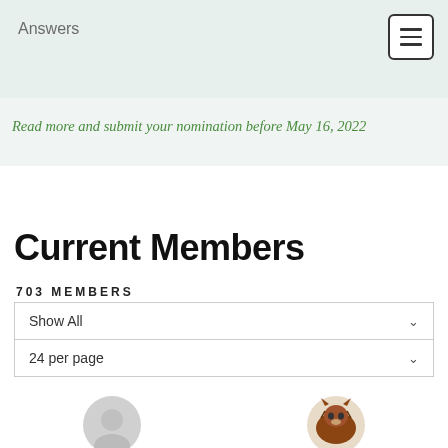Answers
Read more and submit your nomination before May 16, 2022
Current Members
703 MEMBERS
Show All
24 per page
Hidden Member
MOHUMMAD MAHDY